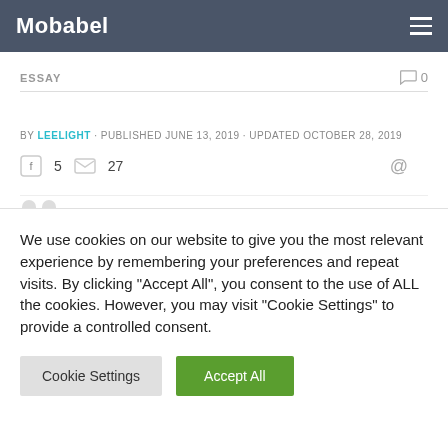Mobabel
ESSAY   0
BY LEELIGHT · PUBLISHED JUNE 13, 2019 · UPDATED OCTOBER 28, 2019
5  27  @
We use cookies on our website to give you the most relevant experience by remembering your preferences and repeat visits. By clicking "Accept All", you consent to the use of ALL the cookies. However, you may visit "Cookie Settings" to provide a controlled consent.
Cookie Settings   Accept All